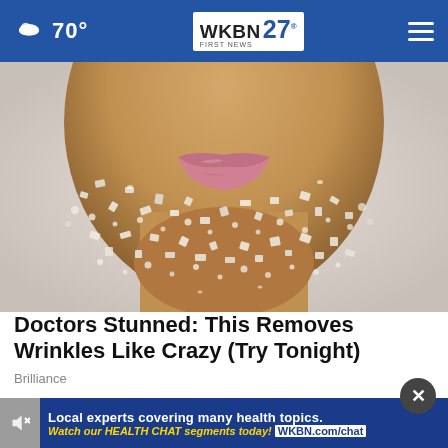70° | WKBN FIRST NEWS 27
[Figure (photo): Close-up photo of a person's face with lips and lower face covered in salt or sugar crystals, on a light gray background]
Doctors Stunned: This Removes Wrinkles Like Crazy (Try Tonight)
Brilliance
[Figure (screenshot): Advertisement banner with mute icon on left and blue banner reading: 'Local experts covering many health topics. Watch our HEALTH CHAT segments today! WKBN.com/chat']